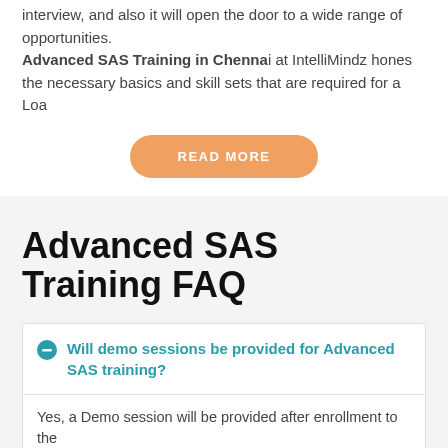interview, and also it will open the door to a wide range of opportunities. Advanced SAS Training in Chennai at IntelliMindz hones the necessary basics and skill sets that are required for a Loa
[Figure (other): Orange rounded rectangle button with text READ MORE]
Advanced SAS Training FAQ
Will demo sessions be provided for Advanced SAS training?
Yes, a Demo session will be provided after enrollment to the